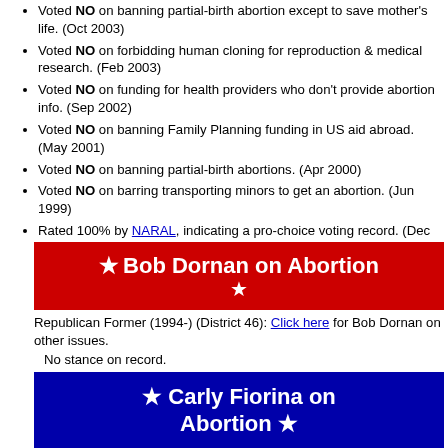Voted NO on banning partial-birth abortion except to save mother's life. (Oct 2003)
Voted NO on forbidding human cloning for reproduction & medical research. (Feb 2003)
Voted NO on funding for health providers who don't provide abortion info. (Sep 2002)
Voted NO on banning Family Planning funding in US aid abroad. (May 2001)
Voted NO on banning partial-birth abortions. (Apr 2000)
Voted NO on barring transporting minors to get an abortion. (Jun 1999)
Rated 100% by NARAL, indicating a pro-choice voting record. (Dec 2003)
★ Bob Dornan on Abortion ★
Republican Former (1994-) (District 46): Click here for Bob Dornan on other issues.
No stance on record.
★ Carly Fiorina on Abortion ★